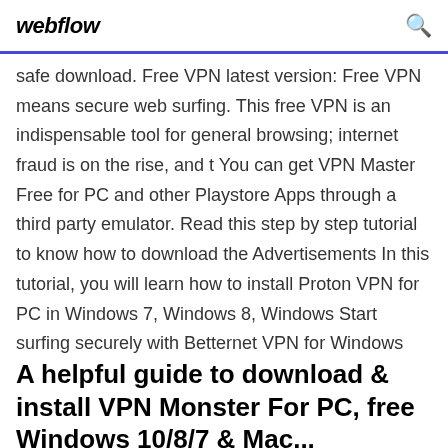webflow
safe download. Free VPN latest version: Free VPN means secure web surfing. This free VPN is an indispensable tool for general browsing; internet fraud is on the rise, and t You can get VPN Master Free for PC and other Playstore Apps through a third party emulator. Read this step by step tutorial to know how to download the Advertisements In this tutorial, you will learn how to install Proton VPN for PC in Windows 7, Windows 8, Windows Start surfing securely with Betternet VPN for Windows
A helpful guide to download & install VPN Monster For PC, free Windows 10/8/7 & Mac...